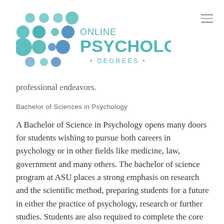[Figure (logo): Online Psychology Degrees logo with teal/blue circular dot pattern on the left and text reading ONLINE PSYCHOLOGY DEGREES on the right]
professional endeavors.
Bachelor of Sciences in Psychology
A Bachelor of Science in Psychology opens many doors for students wishing to pursue both careers in psychology or in other fields like medicine, law, government and many others. The bachelor of science program at ASU places a strong emphasis on research and the scientific method, preparing students for a future in either the practice of psychology, research or further studies. Students are also required to complete the core curriculum set forth by the liberal arts